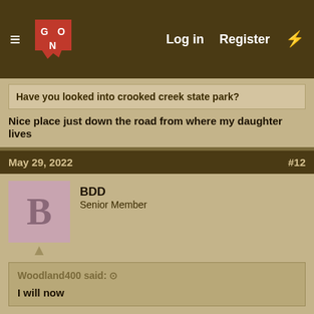GON forum header with Log in, Register navigation
Have you looked into crooked creek state park?
Nice place just down the road from where my daughter lives
May 29, 2022  #12
BDD
Senior Member
Woodland400 said: ◉
I will now
Crooked creek has a ramp but not a dock for overnight. Ft Mac has both and a lift near by. Cabins can be booked 6 months out online.
May 29, 2022  #13
BDD
Senior Member